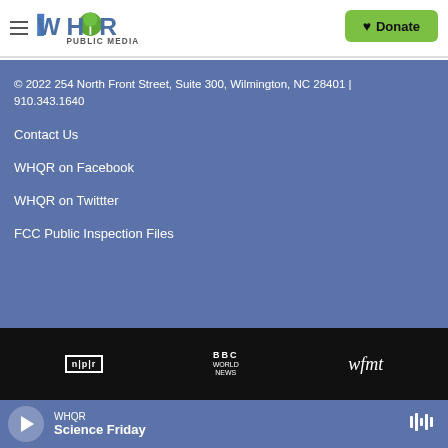WHQR Public Media | Donate
© 2022 254 North Front Street, Suite 300, Wilmington, NC 28401 | 910.343.1640
Contact Us
WHQR on Facebook
WHQR on Twittter
FCC Public Inspection Files
[Figure (logo): NPR logo, BBC World News logo, wfmt logo on black bar]
WHQR Science Friday